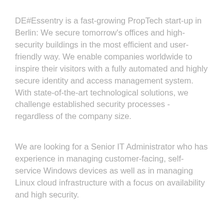DE#Essentry is a fast-growing PropTech start-up in Berlin: We secure tomorrow's offices and high-security buildings in the most efficient and user-friendly way. We enable companies worldwide to inspire their visitors with a fully automated and highly secure identity and access management system. With state-of-the-art technological solutions, we challenge established security processes - regardless of the company size.
We are looking for a Senior IT Administrator who has experience in managing customer-facing, self-service Windows devices as well as in managing Linux cloud infrastructure with a focus on availability and high security.